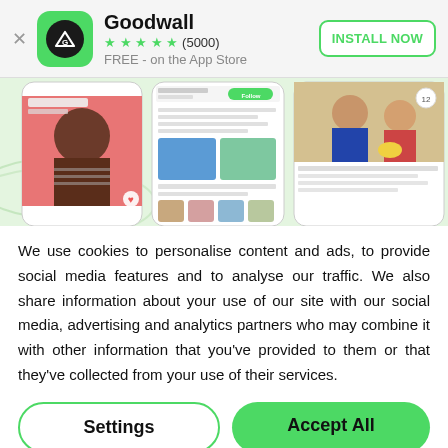[Figure (screenshot): App store banner for Goodwall app showing app icon (green rounded square with black circle and white triangle/G logo), 5 star rating (5000 reviews), FREE on the App Store, and INSTALL NOW button]
[Figure (screenshot): App screenshot collage showing three mobile screens with user profiles and social feed content including photos of people]
We use cookies to personalise content and ads, to provide social media features and to analyse our traffic. We also share information about your use of our site with our social media, advertising and analytics partners who may combine it with other information that you've provided to them or that they've collected from your use of their services.
Settings
Accept All